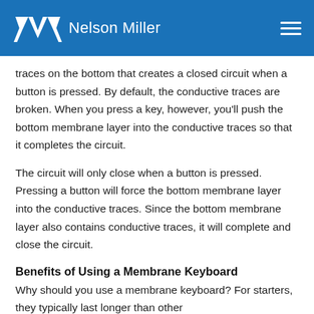Nelson Miller
traces on the bottom that creates a closed circuit when a button is pressed. By default, the conductive traces are broken. When you press a key, however, you'll push the bottom membrane layer into the conductive traces so that it completes the circuit.
The circuit will only close when a button is pressed. Pressing a button will force the bottom membrane layer into the conductive traces. Since the bottom membrane layer also contains conductive traces, it will complete and close the circuit.
Benefits of Using a Membrane Keyboard
Why should you use a membrane keyboard? For starters, they typically last longer than other